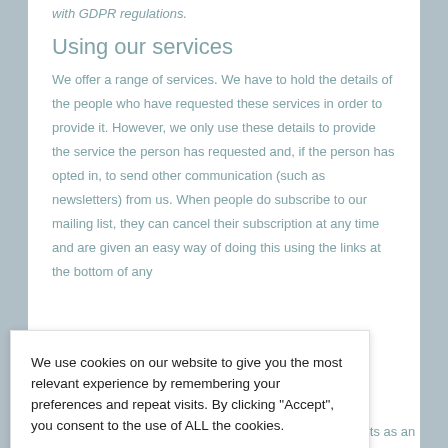with GDPR regulations.
Using our services
We offer a range of services. We have to hold the details of the people who have requested these services in order to provide it. However, we only use these details to provide the service the person has requested and, if the person has opted in, to send other communication (such as newsletters) from us. When people do subscribe to our mailing list, they can cancel their subscription at any time and are given an easy way of doing this using the links at the bottom of any
ods
nsent and t interaction
Under the Data Protection Act 1998, you have rights as an
[Figure (screenshot): Cookie consent banner overlay with text: 'We use cookies on our website to give you the most relevant experience by remembering your preferences and repeat visits. By clicking "Accept", you consent to the use of ALL the cookies.' with a 'Cookie settings' underlined link and a green 'ACCEPT' button.]